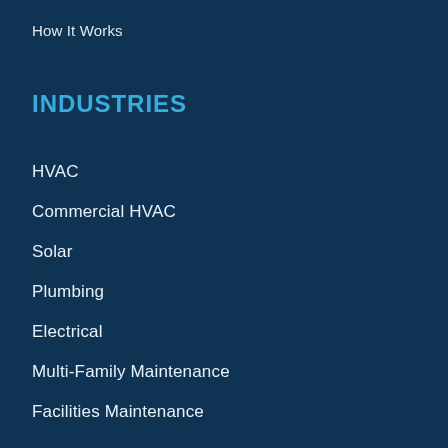How It Works
INDUSTRIES
HVAC
Commercial HVAC
Solar
Plumbing
Electrical
Multi-Family Maintenance
Facilities Maintenance